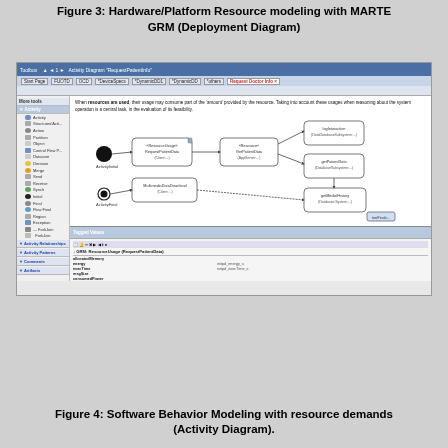Figure 3: Hardware/Platform Resource modeling with MARTE GRM (Deployment Diagram)
[Figure (screenshot): Screenshot of a UML modeling tool (Papyrus/Eclipse) showing an Activity Diagram with MARTE GRM resource usage annotations. The diagram shows activity nodes including RequestPatientData (Client), GetPatientData (AppServer), logIntoraction (DatabaseSubsystem), getPatientData (DatabaseSubsystem), getMedialHistory (Database:System), and MultimediaDataDownload (Client). The bottom panel shows Tagged Values for GRM::ResourceUsage (RequestPatientData) including fields: allocatedMemory, energy, execTime, msgSize, consumedPower, pAUsages, usedMemory, usedResources with values including initpd_energy_s, initpd_execTime_s, and Resource=LAN, ProcessingResource->CPU, Resource=DISK.]
Figure 4: Software Behavior Modeling with resource demands (Activity Diagram).